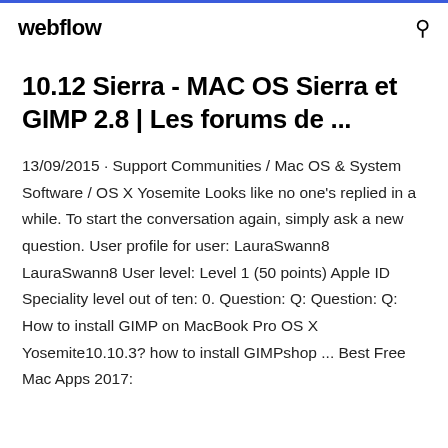webflow  🔍
10.12 Sierra - MAC OS Sierra et GIMP 2.8 | Les forums de ...
13/09/2015 · Support Communities / Mac OS & System Software / OS X Yosemite Looks like no one's replied in a while. To start the conversation again, simply ask a new question. User profile for user: LauraSwann8 LauraSwann8 User level: Level 1 (50 points) Apple ID Speciality level out of ten: 0. Question: Q: Question: Q: How to install GIMP on MacBook Pro OS X Yosemite10.10.3? how to install GIMPshop ... Best Free Mac Apps 2017: